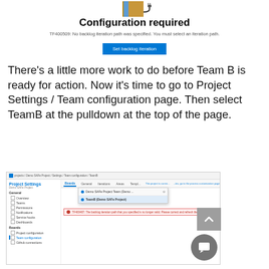[Figure (illustration): Illustration of a book or folder with a cable/plug, representing configuration needed]
Configuration required
TF400509: No backlog iteration path was specified. You must select an iteration path.
[Figure (screenshot): Button: Set backlog iteration]
There's a little more work to do before Team B is ready for action. Now it's time to go to Project Settings / Team configuration page. Then select TeamB at the pulldown at the top of the page.
[Figure (screenshot): Screenshot of Azure DevOps Project Settings page showing Team configuration menu with a dropdown selecting TeamB (Demo SAFe Project) and an error message about backlog iteration path]